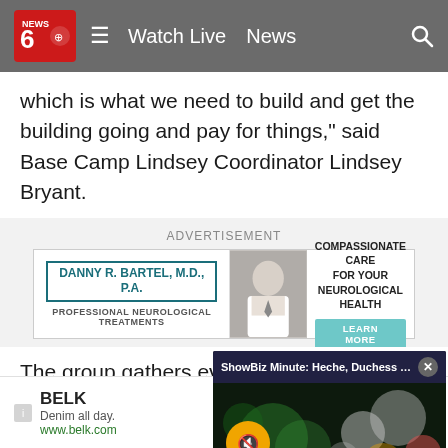NEWS 6 | Watch Live | News
which is what we need to build and get the building going and pay for things," said Base Camp Lindsey Coordinator Lindsey Bryant.
ADVERTISEMENT
[Figure (screenshot): Advertisement banner for Danny R. Bartel, M.D., P.A. — Professional Neurological Treatments. Compassionate Care For Your Neurological Health. Learn More button.]
The group gathers ever… soon be home to over 2…
[Figure (screenshot): ShowBiz Minute video overlay: Heche, Duchess of Sus... with mute button and close button, showing bokeh/orb video background with text SHOWBIZ MINUTE at bottom.]
“Right now we’re not su…
[Figure (screenshot): Bottom advertisement bar: BELK — Denim all day. www.belk.com with close button and blue arrow button.]